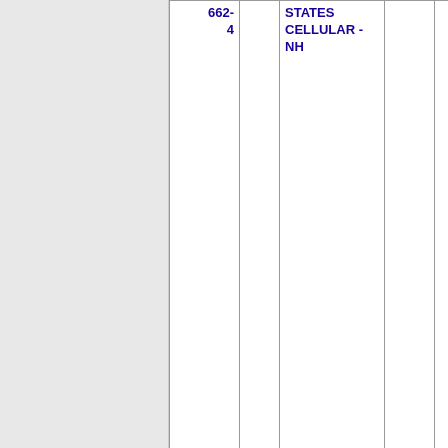| Number | State | Carrier | ZIP | City |
| --- | --- | --- | --- | --- |
| 603-662-4 |  | STATES CELLULAR - NH |  |  |
| 603-662-5 | NH | UNITED STATES CELLULAR - NH | 6290 | CONWAY |